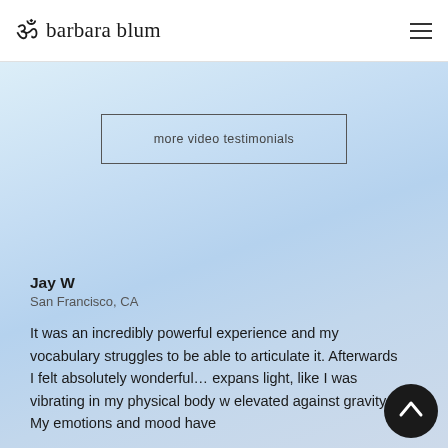barbara blum
more video testimonials
Jay W
San Francisco, CA
It was an incredibly powerful experience and my vocabulary struggles to be able to articulate it. Afterwards I felt absolutely wonderful… expans light, like I was vibrating in my physical body w elevated against gravity. My emotions and mood have